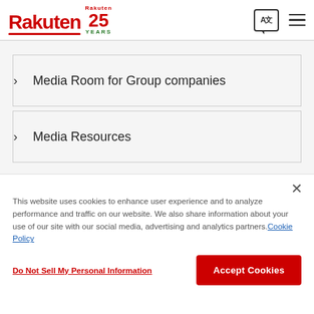Rakuten 25 YEARS
> Media Room for Group companies
> Media Resources
This website uses cookies to enhance user experience and to analyze performance and traffic on our website. We also share information about your use of our site with our social media, advertising and analytics partners. Cookie Policy
Do Not Sell My Personal Information
Accept Cookies